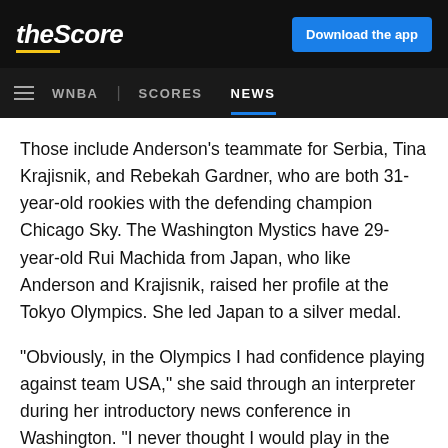theScore | Download the app
WNBA | SCORES NEWS
Those include Anderson's teammate for Serbia, Tina Krajisnik, and Rebekah Gardner, who are both 31-year-old rookies with the defending champion Chicago Sky. The Washington Mystics have 29-year-old Rui Machida from Japan, who like Anderson and Krajisnik, raised her profile at the Tokyo Olympics. She led Japan to a silver medal.
“Obviously, in the Olympics I had confidence playing against team USA,” she said through an interpreter during her introductory news conference in Washington. “I never thought I would play in the WNBA until I got the offer from the Mystics. This is going to be the best experience I’ve had, for sure.”